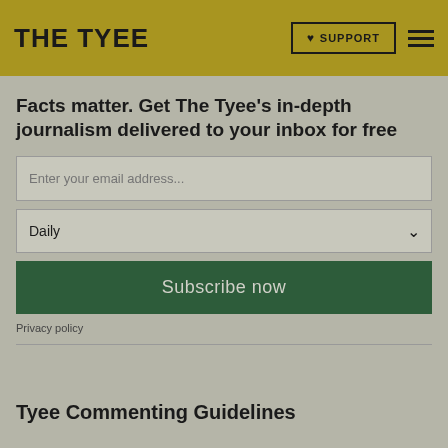THE TYEE | ♥ SUPPORT
Facts matter. Get The Tyee's in-depth journalism delivered to your inbox for free
Enter your email address...
Daily
Subscribe now
Privacy policy
Tyee Commenting Guidelines